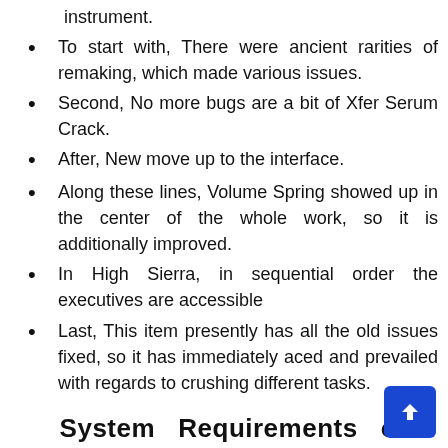instrument.
To start with, There were ancient rarities of remaking, which made various issues.
Second, No more bugs are a bit of Xfer Serum Crack.
After, New move up to the interface.
Along these lines, Volume Spring showed up in the center of the whole work, so it is additionally improved.
In High Sierra, in sequential order the executives are accessible
Last, This item presently has all the old issues fixed, so it has immediately aced and prevailed with regards to crushing different tasks.
System Requirements of